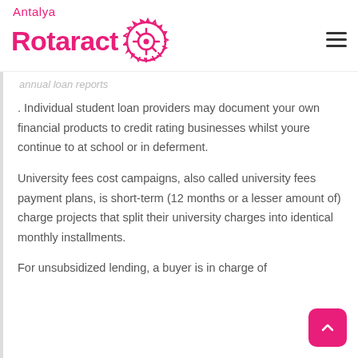Antalya Rotaract
annual loan reports
. Individual student loan providers may document your own financial products to credit rating businesses whilst youre continue to at school or in deferment.
University fees cost campaigns, also called university fees payment plans, is short-term (12 months or a lesser amount of) charge projects that split their university charges into identical monthly installments.
For unsubsidized lending, a buyer is in charge of